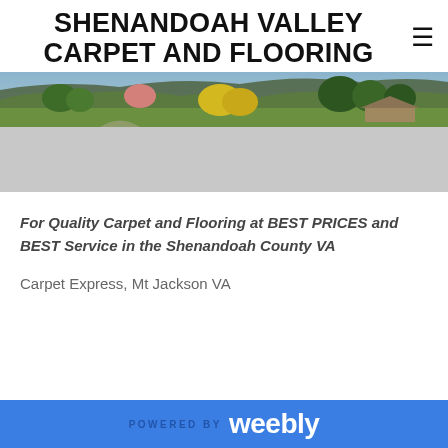SHENANDOAH VALLEY CARPET AND FLOORING
[Figure (photo): Landscape banner photo of a green valley with trees and a house in the background, plus a grey placeholder section below]
For Quality Carpet and Flooring at BEST PRICES and BEST Service in the Shenandoah County VA
Carpet Express, Mt Jackson VA
POWERED BY weebly